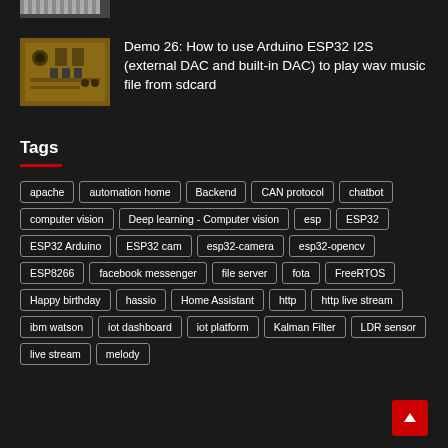[Figure (photo): Small thumbnail image strip at top]
[Figure (photo): Circuit board thumbnail image for Arduino ESP32 I2S article]
Demo 26: How to use Arduino ESP32 I2S (external DAC and built-in DAC) to play wav music file from sdcard
Tags
apache
automation home
Backend
CAN protocol
chatbot
computer vision
Deep learning - Computer vision
esp
ESP32
ESP32 Arduino
ESP32 cam
esp32-camera
esp32-opencv
ESP8266
facebook messenger
file server
fota
FreeRTOS
Happy birthday
hassio
Home Assistant
http
http live stream
ibm watson
iot dashboard
iot platform
Kalman Filter
LDR sensor
live stream
melody